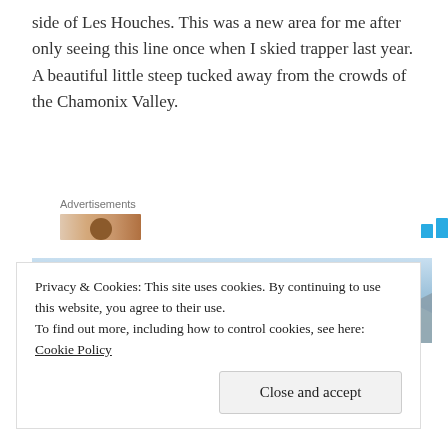side of Les Houches. This was a new area for me after only seeing this line once when I skied trapper last year. A beautiful little steep tucked away from the crowds of the Chamonix Valley.
Advertisements
[Figure (photo): Advertisement banner with image of a person and a bar chart icon placeholder]
[Figure (photo): Mountain snow scene with a red ski route line drawn on it, showing Les Houches area near Chamonix Valley]
Privacy & Cookies: This site uses cookies. By continuing to use this website, you agree to their use.
To find out more, including how to control cookies, see here: Cookie Policy
Close and accept